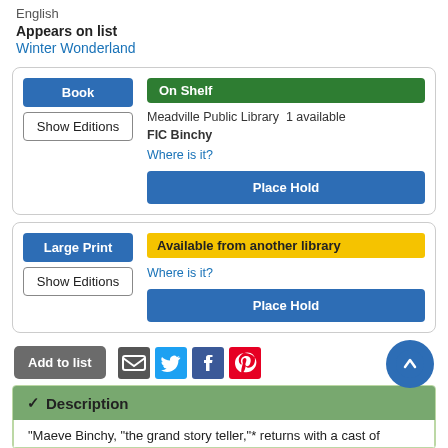English
Appears on list
Winter Wonderland
Book | On Shelf | Show Editions | Meadville Public Library  1 available | FIC Binchy | Where is it? | Place Hold
Large Print | Available from another library | Show Editions | Where is it? | Place Hold
Add to list
Description
"Maeve Binchy, "the grand story teller,"* returns with a cast of